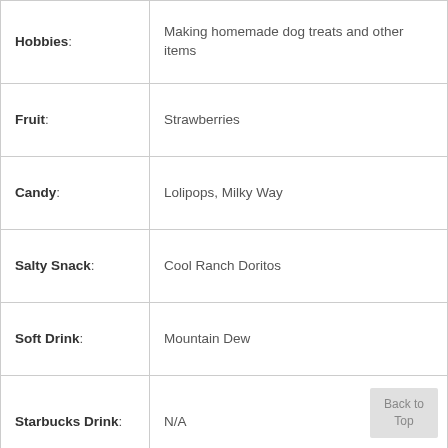| Category | Value |
| --- | --- |
| Hobbies: | Making homemade dog treats and other items |
| Fruit: | Strawberries |
| Candy: | Lolipops, Milky Way |
| Salty Snack: | Cool Ranch Doritos |
| Soft Drink: | Mountain Dew |
| Starbucks Drink: | N/A |
| Cookie: | Chocolate Chip |